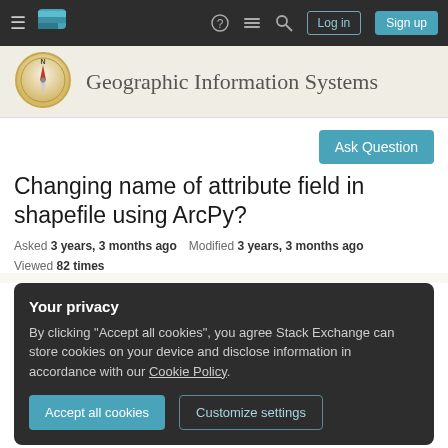Geographic Information Systems — Stack Exchange navigation bar with Log in and Sign up buttons
[Figure (screenshot): GIS Stack Exchange compass logo icon]
Geographic Information Systems
Ask Question
Changing name of attribute field in shapefile using ArcPy?
Asked 3 years, 3 months ago   Modified 3 years, 3 months ago   Viewed 82 times
Your privacy
By clicking "Accept all cookies", you agree Stack Exchange can store cookies on your device and disclose information in accordance with our Cookie Policy.
Accept all cookies   Customize settings